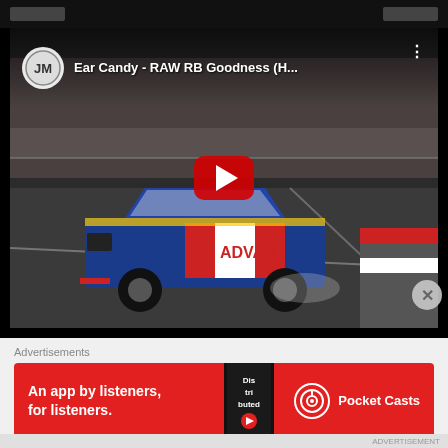[Figure (screenshot): YouTube video thumbnail showing a racing car (blue Nissan with ADVAN livery) drifting on a track. Video title: 'Ear Candy - RAW RB Goodness (H...' with YouTube play button overlay and channel logo.]
Advertisements
[Figure (photo): Advertisement banner for Pocket Casts podcast app. Red background. Text: 'An app by listeners, for listeners.' with Pocket Casts logo and phone image showing 'Distributed' text.]